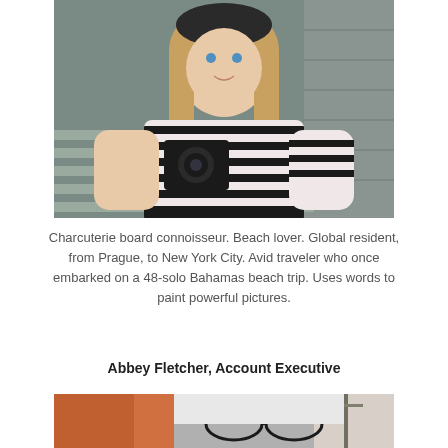[Figure (photo): Young woman with long blonde hair wearing a black and white striped top, holding a camera, seated in front of wooden siding/shingles background.]
Charcuterie board connoisseur. Beach lover. Global resident, from Prague, to New York City. Avid traveler who once embarked on a 48-solo Bahamas beach trip. Uses words to paint powerful pictures.
Abbey Fletcher, Account Executive
[Figure (photo): Partial photo of Abbey Fletcher outdoors, with autumn foliage visible and glasses in frame.]